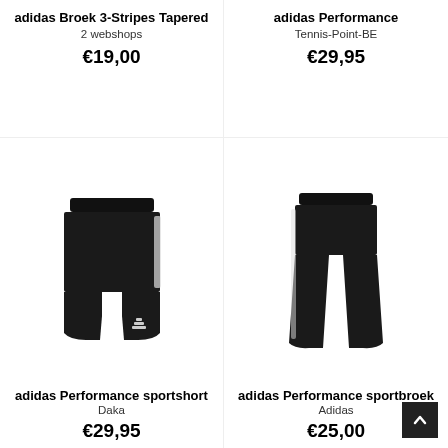adidas Broek 3-Stripes Tapered
2 webshops
€19,00
adidas Performance
Tennis-Point-BE
€29,95
[Figure (photo): Black adidas Performance sportshort with white 3-stripes and adidas logo]
[Figure (photo): Black adidas Performance sportbroek (longer pants) with white stripe]
adidas Performance sportshort
Daka
€29,95
adidas Performance sportbroek
Adidas
€25,00